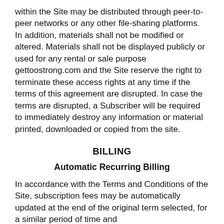within the Site may be distributed through peer-to-peer networks or any other file-sharing platforms. In addition, materials shall not be modified or altered. Materials shall not be displayed publicly or used for any rental or sale purpose gettoostrong.com and the Site reserve the right to terminate these access rights at any time if the terms of this agreement are disrupted. In case the terms are disrupted, a Subscriber will be required to immediately destroy any information or material printed, downloaded or copied from the site.
BILLING
Automatic Recurring Billing
In accordance with the Terms and Conditions of the Site, subscription fees may be automatically updated at the end of the original term selected, for a similar period of time and